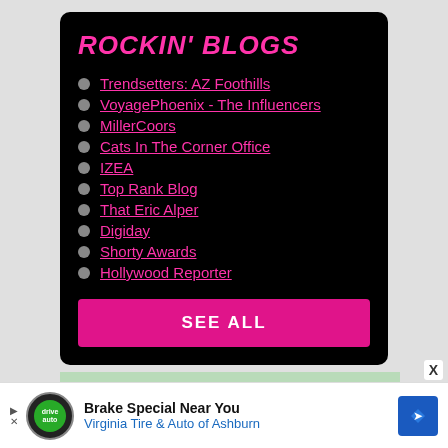ROCKIN' BLOGS
Trendsetters: AZ Foothills
VoyagePhoenix - The Influencers
MillerCoors
Cats In The Corner Office
IZEA
Top Rank Blog
That Eric Alper
Digiday
Shorty Awards
Hollywood Reporter
SEE ALL
Brake Special Near You
Virginia Tire & Auto of Ashburn